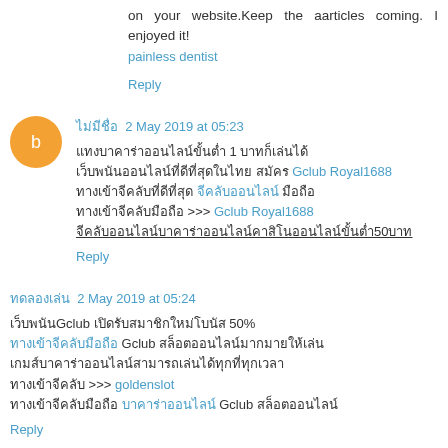on your website.Keep the aarticles coming. I enjoyed it!
painless dentist
Reply
ไม่มีชื่อ 2 May 2019 at 05:23
แทงบาคาร่าออนไลน์ขั้นต่ำ 1 บาทก็เล่นได้ เว็บพนันออนไลน์ที่ดีที่สุดในไทย สมัคร Gclub Royal1688 ทางเข้าจีคลับที่ดีที่สุด จีคลับออนไลน์ มือถือ ทางเข้าจีคลับมือถือ >>> Gclub Royal1688 จีคลับออนไลน์บาคาร่าออนไลน์คาสิโนออนไลน์ขั้นต่ำ50บาท
Reply
ทดลองเล่น 2 May 2019 at 05:24
เว็บพนันGclub เปิดรับสมาชิกใหม่โบนัส 50% ทางเข้าจีคลับมือถือ Gclub สล็อตออนไลน์มากมายให้เล่น เกมส์บาคาร่าออนไลน์สามารถเล่นได้ทุกที่ทุกเวลา ทางเข้าจีคลับ >>> goldenslot ทางเข้าจีคลับมือถือ บาคาร่าออนไลน์ Gclub สล็อตออนไลน์
Reply